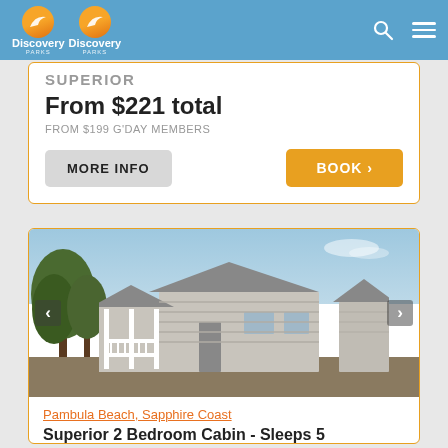Discovery Parks Discovery Parks
SUPERIOR
From $221 total
FROM $199 G'DAY MEMBERS
MORE INFO
BOOK >
[Figure (photo): Exterior photo of a Superior 2 Bedroom Cabin with white porch, horizontal grey siding, and trees in background]
Pambula Beach, Sapphire Coast
Superior 2 Bedroom Cabin - Sleeps 5